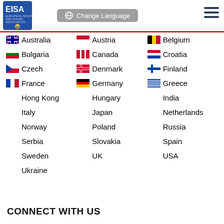[Figure (logo): EISA logo with 40th anniversary badge]
Australia
Austria
Belgium
Bulgaria
Canada
Croatia
Czech
Denmark
Finland
France
Germany
Greece
Hong Kong
Hungary
India
Italy
Japan
Netherlands
Norway
Poland
Russia
Serbia
Slovakia
Spain
Sweden
UK
USA
Ukraine
CONNECT WITH US